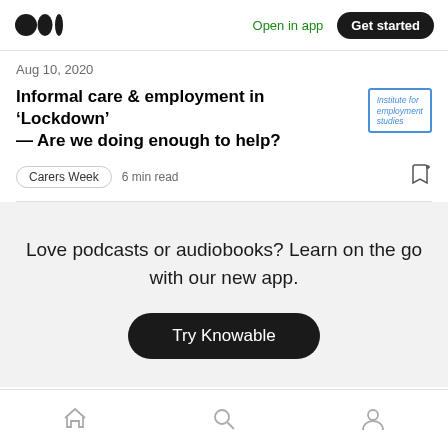Medium logo | Open in app | Get started
Aug 10, 2020
Informal care & employment in ‘Lockdown’ — Are we doing enough to help?
[Figure (logo): Institute for employment studies logo with blue border]
Carers Week  6 min read
Love podcasts or audiobooks? Learn on the go with our new app.
Try Knowable
Home | Search | Profile icons